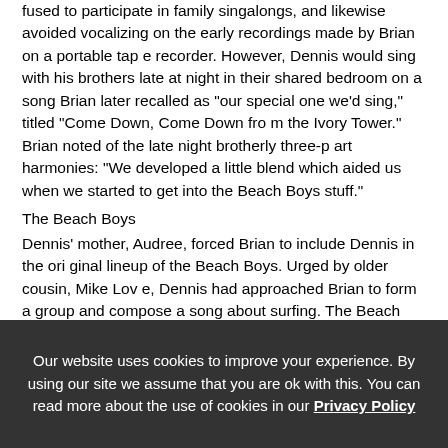fused to participate in family singalongs, and likewise avoided vocalizing on the early recordings made by Brian on a portable tape recorder. However, Dennis would sing with his brothers late at night in their shared bedroom on a song Brian later recalled as "our special one we'd sing," titled "Come Down, Come Down from the Ivory Tower." Brian noted of the late night brotherly three-part harmonies: "We developed a little blend which aided us when we started to get into the Beach Boys stuff."
The Beach Boys
Dennis' mother, Audree, forced Brian to include Dennis in the original lineup of the Beach Boys. Urged by older cousin, Mike Love, Dennis had approached Brian to form a group and compose a song about surfing. The Beach Boys formed in August 1961 and were successful immediately (Murry having taken over guidance of the group as manager). Though the Beach Boys were named for, and developed, an image based on the California surfing culture, Dennis was the only actual surfer in the band.
During the first few years of the Beach Boys, Dennis was given the role of the drummer by his brother, Brian. He quickly learned t
Our website uses cookies to improve your experience. By using our site we assume that you are ok with this. You can read more about the use of cookies in our Privacy Policy